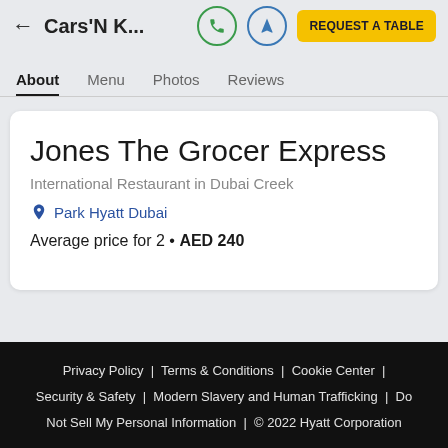Cars'N K...
Jones The Grocer Express
International Restaurant in Dubai Creek
Park Hyatt Dubai
Average price for 2 • AED 240
Privacy Policy | Terms & Conditions | Cookie Center | Security & Safety | Modern Slavery and Human Trafficking | Do Not Sell My Personal Information | © 2022 Hyatt Corporation